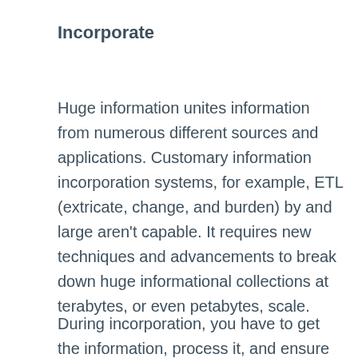Incorporate
Huge information unites information from numerous different sources and applications. Customary information incorporation systems, for example, ETL (extricate, change, and burden) by and large aren’t capable. It requires new techniques and advancements to break down huge informational collections at terabytes, or even petabytes, scale.
During incorporation, you have to get the information, process it, and ensure it’s